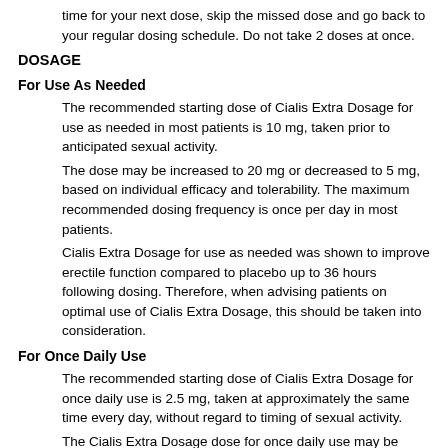time for your next dose, skip the missed dose and go back to your regular dosing schedule. Do not take 2 doses at once.
DOSAGE
For Use As Needed
The recommended starting dose of Cialis Extra Dosage for use as needed in most patients is 10 mg, taken prior to anticipated sexual activity.
The dose may be increased to 20 mg or decreased to 5 mg, based on individual efficacy and tolerability. The maximum recommended dosing frequency is once per day in most patients.
Cialis Extra Dosage for use as needed was shown to improve erectile function compared to placebo up to 36 hours following dosing. Therefore, when advising patients on optimal use of Cialis Extra Dosage, this should be taken into consideration.
For Once Daily Use
The recommended starting dose of Cialis Extra Dosage for once daily use is 2.5 mg, taken at approximately the same time every day, without regard to timing of sexual activity.
The Cialis Extra Dosage dose for once daily use may be increased to 5 mg, based on individual efficacy and tolerability.
Ask your health care provider any questions you may have about use Cialis Extra Dosage.